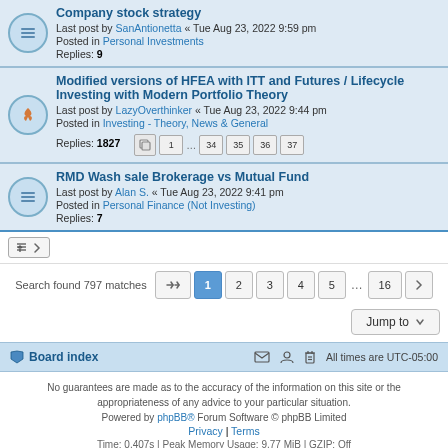Company stock strategy
Last post by SanAntionetta « Tue Aug 23, 2022 9:59 pm
Posted in Personal Investments
Replies: 9
Modified versions of HFEA with ITT and Futures / Lifecycle Investing with Modern Portfolio Theory
Last post by LazyOverthinker « Tue Aug 23, 2022 9:44 pm
Posted in Investing - Theory, News & General
Replies: 1827
RMD Wash sale Brokerage vs Mutual Fund
Last post by Alan S. « Tue Aug 23, 2022 9:41 pm
Posted in Personal Finance (Not Investing)
Replies: 7
Search found 797 matches
Board index | All times are UTC-05:00
No guarantees are made as to the accuracy of the information on this site or the appropriateness of any advice to your particular situation.
Powered by phpBB® Forum Software © phpBB Limited
Privacy | Terms
Time: 0.407s | Peak Memory Usage: 9.77 MiB | GZIP: Off